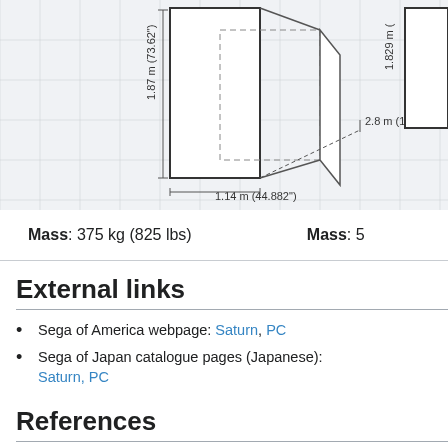[Figure (engineering-diagram): Technical line drawing of a gaming peripheral/device showing dimensions: 1.87 m (73.62"), 2.8 m (110.236"), 1.14 m (44.882"). Right side partially cropped shows 1.829 m dimension.]
Mass: 375 kg (825 lbs)
Mass: 5
External links
Sega of America webpage: Saturn, PC
Sega of Japan catalogue pages (Japanese): Saturn, PC
References
1. ↑ File:Daytonausa sat jp backcover.jpg